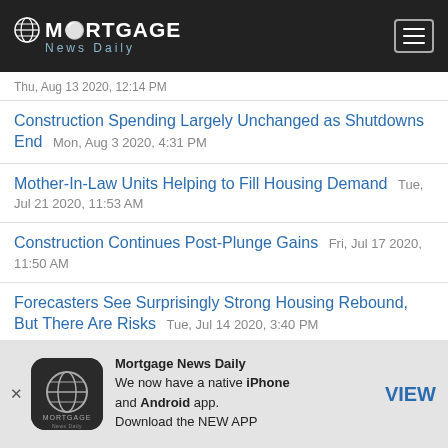MORTGAGE News Daily
Thu, Aug 13 2020, 12:14 PM
Construction Spending Largely Unchanged as Shutdowns End  Mon, Aug 3 2020, 4:31 PM
Mother-In-Law Units Helping to Fill Housing Demand  Tue, Jul 21 2020, 11:53 AM
Construction Continues Post-Plunge Gains  Fri, Jul 17 2020, 11:50 AM
Forecasters See Surprisingly Strong Housing Rebound, But There Are Risks  Tue, Jul 14 2020, 3:40 PM
Mortgage News Daily. We now have a native iPhone and Android app. Download the NEW APP. VIEW